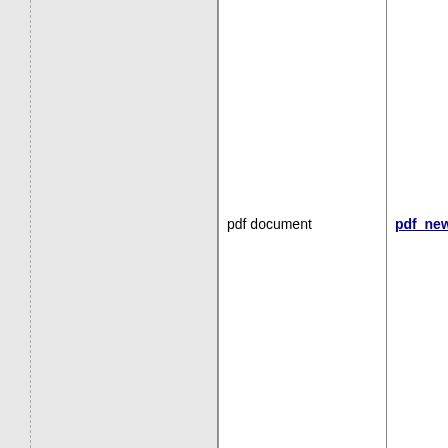|  | pdf document | pdf_new() |
| --- | --- | --- |
|  | pdf document | pdf_new() |
pdf_get
pdf_get
pdf_get
pdf_lin
pdf_op
pdf_op
pdf_rec
pdf_sa
pdf_set
pdf_set
pdf_set
pdf_set
pdf_set
pdf_set
pdf_set
pdf_set
pdf_set
pdf_set
pdf_set
pdf_set
pdf_sh
pdf_ske
pdf_str
pdf_add
pdf_beg
pdf_end